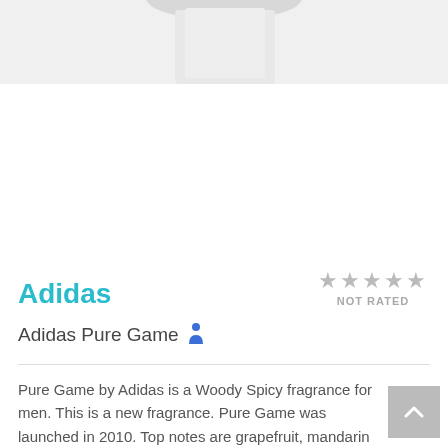[Figure (photo): Top portion of a fragrance bottle product photo on a light grey/white background]
[Figure (infographic): Five grey stars rating display with NOT RATED label below]
Adidas
Adidas Pure Game (male gender icon)
Pure Game by Adidas is a Woody Spicy fragrance for men. This is a new fragrance. Pure Game was launched in 2010. Top notes are grapefruit, mandarin orange, basil and